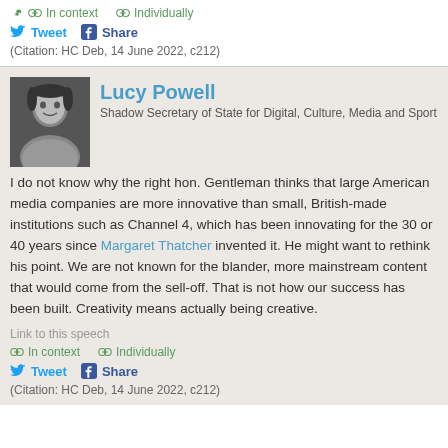In context  Individually
Tweet  Share
(Citation: HC Deb, 14 June 2022, c212)
Lucy Powell
Shadow Secretary of State for Digital, Culture, Media and Sport
I do not know why the right hon. Gentleman thinks that large American media companies are more innovative than small, British-made institutions such as Channel 4, which has been innovating for the 30 or 40 years since Margaret Thatcher invented it. He might want to rethink his point. We are not known for the blander, more mainstream content that would come from the sell-off. That is not how our success has been built. Creativity means actually being creative.
Link to this speech
In context  Individually
Tweet  Share
(Citation: HC Deb, 14 June 2022, c212)